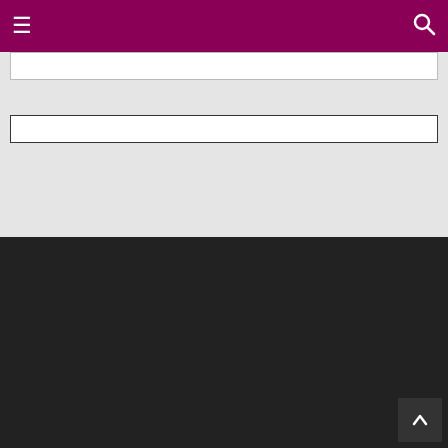Navigation bar with hamburger menu and search icon
[Figure (screenshot): Two horizontal search/input bars on a light gray background]
FOLLOW US — Facebook, Twitter, YouTube, Instagram, Reddit social icons — Home | About | Terms & conditions | Disclaimer | Contact us — All Right Reserved Copyright ©